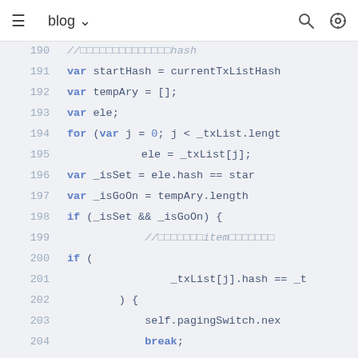≡  blog ∨                          🔍  ⚙
[Figure (screenshot): Code editor screenshot showing JavaScript code lines 190-209 with syntax highlighting. Code involves variables startHash, tempAry, ele, a for loop iterating _txList, conditionals _isSet and _isGoOn, self.pagingSwitch, break, and array operations.]